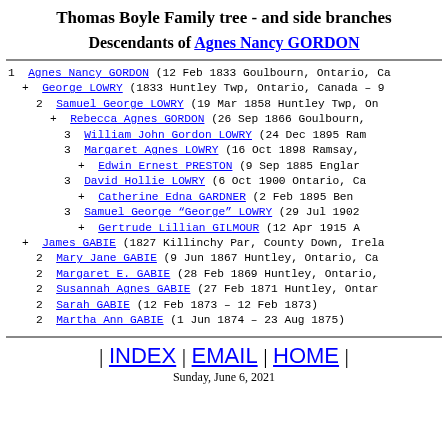Thomas Boyle Family tree - and side branches
Descendants of Agnes Nancy GORDON
1  Agnes Nancy GORDON (12 Feb 1833 Goulbourn, Ontario, Ca
+  George LOWRY (1833 Huntley Twp, Ontario, Canada – 9
2  Samuel George LOWRY (19 Mar 1858 Huntley Twp, On
+  Rebecca Agnes GORDON (26 Sep 1866 Goulbourn,
3  William John Gordon LOWRY (24 Dec 1895 Ra
3  Margaret Agnes LOWRY (16 Oct 1898 Ramsay,
+  Edwin Ernest PRESTON (9 Sep 1885 Englar
3  David Hollie LOWRY (6 Oct 1900 Ontario, Ca
+  Catherine Edna GARDNER (2 Feb 1895 Ben
3  Samuel George "George" LOWRY (29 Jul 1902
+  Gertrude Lillian GILMOUR (12 Apr 1915 A
+  James GABIE (1827 Killinchy Par, County Down, Irela
2  Mary Jane GABIE (9 Jun 1867 Huntley, Ontario, Ca
2  Margaret E. GABIE (28 Feb 1869 Huntley, Ontario,
2  Susannah Agnes GABIE (27 Feb 1871 Huntley, Ontar
2  Sarah GABIE (12 Feb 1873 – 12 Feb 1873)
2  Martha Ann GABIE (1 Jun 1874 – 23 Aug 1875)
| INDEX | EMAIL | HOME | Sunday, June 6, 2021